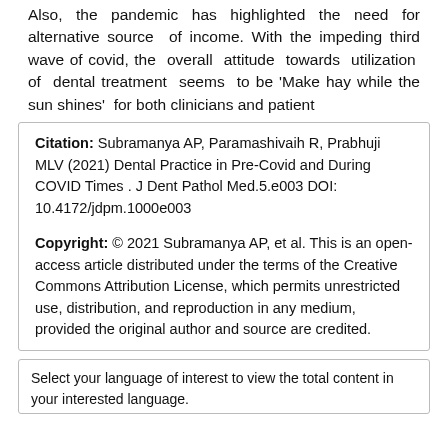Also, the pandemic has highlighted the need for alternative source of income. With the impeding third wave of covid, the overall attitude towards utilization of dental treatment seems to be 'Make hay while the sun shines' for both clinicians and patient
Citation: Subramanya AP, Paramashivaih R, Prabhuji MLV (2021) Dental Practice in Pre-Covid and During COVID Times . J Dent Pathol Med.5.e003 DOI: 10.4172/jdpm.1000e003
Copyright: © 2021 Subramanya AP, et al. This is an open-access article distributed under the terms of the Creative Commons Attribution License, which permits unrestricted use, distribution, and reproduction in any medium, provided the original author and source are credited.
Select your language of interest to view the total content in your interested language.